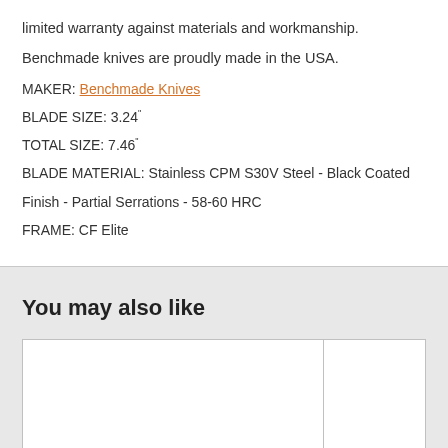limited warranty against materials and workmanship.
Benchmade knives are proudly made in the USA.
MAKER: Benchmade Knives
BLADE SIZE: 3.24"
TOTAL SIZE: 7.46"
BLADE MATERIAL: Stainless CPM S30V Steel - Black Coated Finish - Partial Serrations - 58-60 HRC
FRAME: CF Elite
You may also like